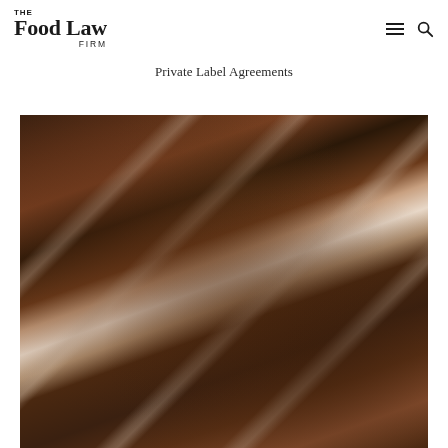The Food Law Firm
Private Label Agreements
[Figure (photo): Close-up photo of chocolate cake slices being served with metal spatulas/servers, showing dark chocolate crumb texture]